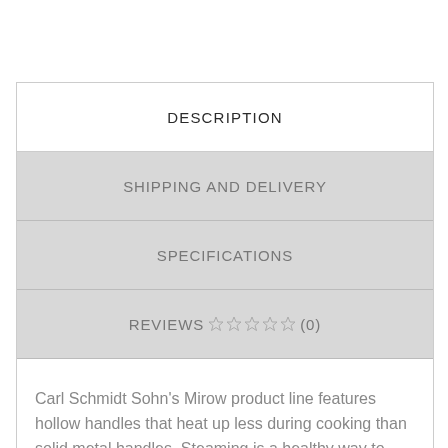DESCRIPTION
SHIPPING AND DELIVERY
SPECIFICATIONS
REVIEWS ☆☆☆☆☆ (0)
Carl Schmidt Sohn's Mirow product line features hollow handles that heat up less during cooking than solid metal handles. Steaming is a healthy way to cook, and this